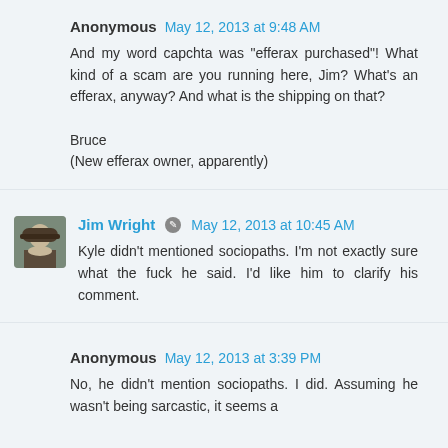Anonymous  May 12, 2013 at 9:48 AM
And my word capchta was "efferax purchased"! What kind of a scam are you running here, Jim? What's an efferax, anyway? And what is the shipping on that?

Bruce
(New efferax owner, apparently)
Jim Wright  May 12, 2013 at 10:45 AM
Kyle didn't mentioned sociopaths. I'm not exactly sure what the fuck he said. I'd like him to clarify his comment.
Anonymous  May 12, 2013 at 3:39 PM
No, he didn't mention sociopaths. I did. Assuming he wasn't being sarcastic, it seems a